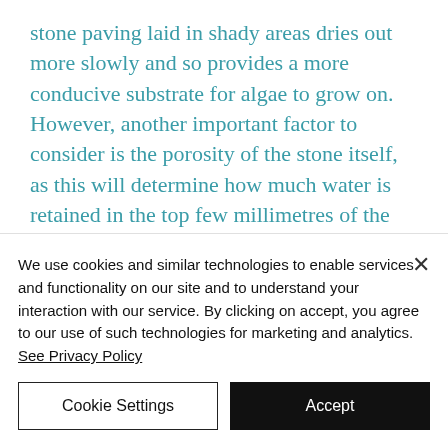stone paving laid in shady areas dries out more slowly and so provides a more conducive substrate for algae to grow on. However, another important factor to consider is the porosity of the stone itself, as this will determine how much water is retained in the top few millimetres of the stone, and hence how long it wakes to dry out. Fortunately, our climate in Cambridge is about the
We use cookies and similar technologies to enable services and functionality on our site and to understand your interaction with our service. By clicking on accept, you agree to our use of such technologies for marketing and analytics. See Privacy Policy
Cookie Settings
Accept